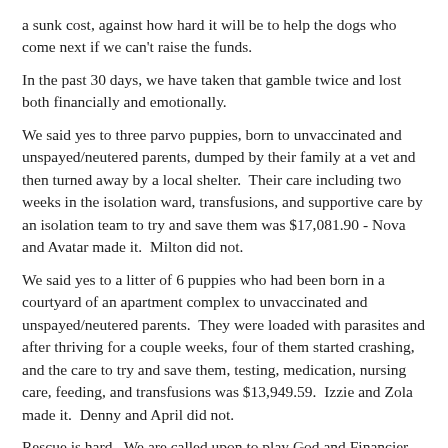a sunk cost, against how hard it will be to help the dogs who come next if we can't raise the funds.
In the past 30 days, we have taken that gamble twice and lost both financially and emotionally.
We said yes to three parvo puppies, born to unvaccinated and unspayed/neutered parents, dumped by their family at a vet and then turned away by a local shelter. Their care including two weeks in the isolation ward, transfusions, and supportive care by an isolation team to try and save them was $17,081.90 - Nova and Avatar made it. Milton did not.
We said yes to a litter of 6 puppies who had been born in a courtyard of an apartment complex to unvaccinated and unspayed/neutered parents. They were loaded with parasites and after thriving for a couple weeks, four of them started crashing, and the care to try and save them, testing, medication, nursing care, feeding, and transfusions was $13,949.59. Izzie and Zola made it. Denny and April did not.
Rescue is hard. We are called upon to play God and Financier daily and the choices are impossible to make:
Should we have said no to either or both sets of puppies, and